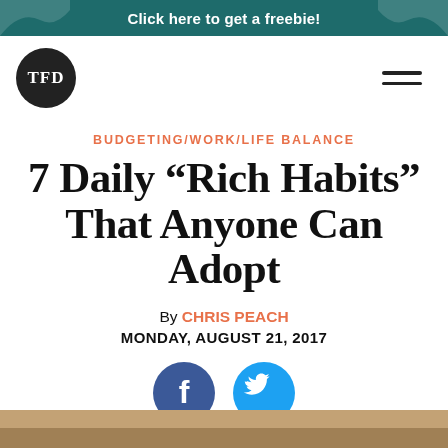Click here to get a freebie!
[Figure (logo): TFD circular logo in black with white text]
[Figure (illustration): Hamburger menu icon (three horizontal lines)]
BUDGETING/WORK/LIFE BALANCE
7 Daily “Rich Habits” That Anyone Can Adopt
By CHRIS PEACH
MONDAY, AUGUST 21, 2017
[Figure (illustration): Facebook and Twitter social share icon buttons (blue circles with f and bird icons)]